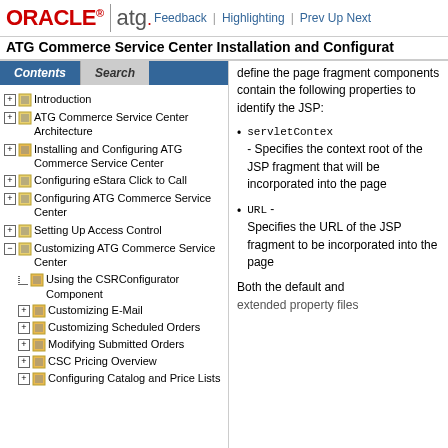ORACLE | atg. Feedback | Highlighting | Prev Up Next
ATG Commerce Service Center Installation and Configuration
Introduction
ATG Commerce Service Center Architecture
Installing and Configuring ATG Commerce Service Center
Configuring eStara Click to Call
Configuring ATG Commerce Service Center
Setting Up Access Control
Customizing ATG Commerce Service Center
Using the CSRConfigurator Component
Customizing E-Mail
Customizing Scheduled Orders
Modifying Submitted Orders
CSC Pricing Overview
Configuring Catalog and Price Lists
define the page fragment components contain the following properties to identify the JSP:
servletContext - Specifies the context root of the JSP fragment that will be incorporated into the page
URL - Specifies the URL of the JSP fragment to be incorporated into the page
Both the default and extended property files